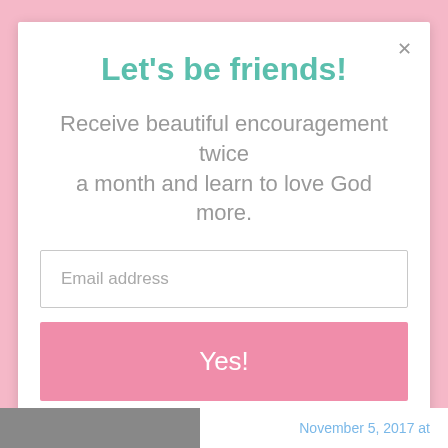Let's be friends!
Receive beautiful encouragement twice a month and learn to love God more.
Email address
Yes!
November 5, 2017 at